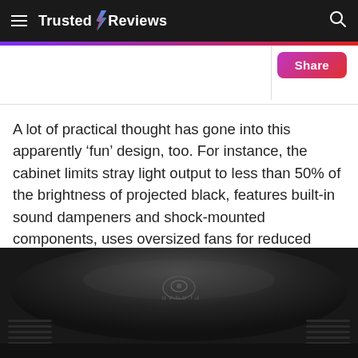Trusted Reviews
A lot of practical thought has gone into this apparently ‘fun’ design, too. For instance, the cabinet limits stray light output to less than 50% of the brightness of projected black, features built-in sound dampeners and shock-mounted components, uses oversized fans for reduced noise levels, and angles the side vents so that any hot air is directed away from where you’re sitting.
[Figure (photo): Close-up top view of a dark/black Planar projector device, oval/disc shaped, showing the top surface with a Planar logo embossed in the center and ventilation slats around the edges.]